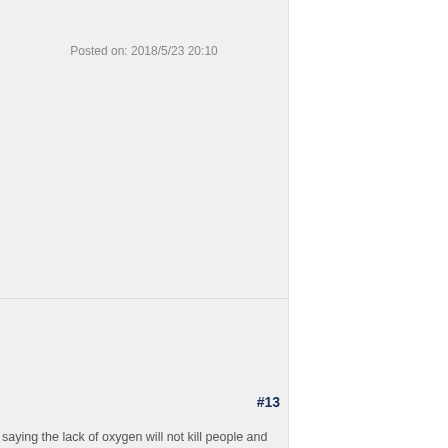Posted on: 2018/5/23 20:10
#13
saying the lack of oxygen will not kill people and who brought Playboy before the internet only read